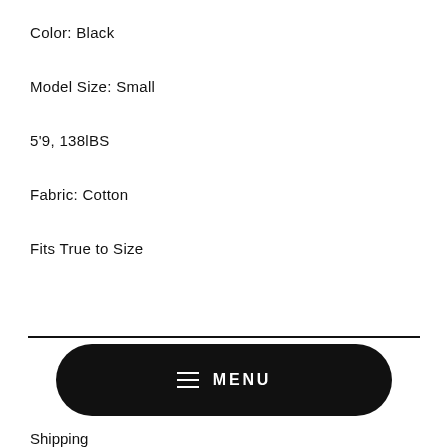Color: Black
Model Size: Small
5'9, 138lBS
Fabric: Cotton
Fits True to Size
MENU
Shipping